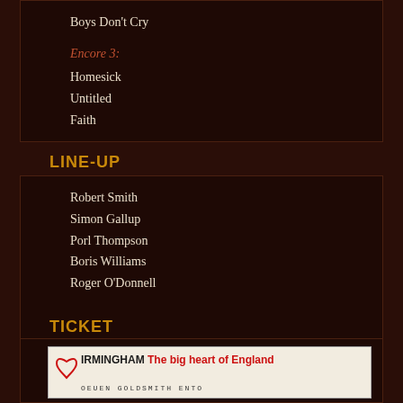Boys Don't Cry
Encore 3:
Homesick
Untitled
Faith
LINE-UP
Robert Smith
Simon Gallup
Porl Thompson
Boris Williams
Roger O'Donnell
TICKET
[Figure (photo): Ticket stub showing 'BIRMINGHAM The big heart of England' with red text on cream/beige background, partial text of further details below]